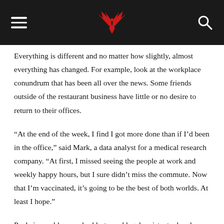Navigation header with hamburger menu, logo, and search icon
Everything is different and no matter how slightly, almost everything has changed. For example, look at the workplace conundrum that has been all over the news. Some friends outside of the restaurant business have little or no desire to return to their offices.
“At the end of the week, I find I got more done than if I’d been in the office,” said Mark, a data analyst for a medical research company. “At first, I missed seeing the people at work and weekly happy hours, but I sure didn’t miss the commute. Now that I’m vaccinated, it’s going to be the best of both worlds. At least I hope.”
Paula is an old server buddy-turned legal assistant who also cherishes her time at home. Like Mark, she previously accepted office life as a given and now wonders why